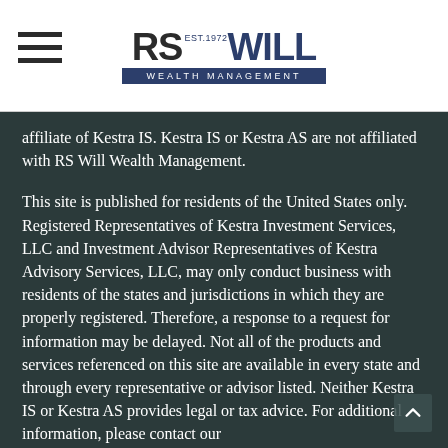[Figure (logo): RS Will Wealth Management logo with hamburger menu icon on the left]
affiliate of Kestra IS. Kestra IS or Kestra AS are not affiliated with RS Will Wealth Management.
This site is published for residents of the United States only. Registered Representatives of Kestra Investment Services, LLC and Investment Advisor Representatives of Kestra Advisory Services, LLC, may only conduct business with residents of the states and jurisdictions in which they are properly registered. Therefore, a response to a request for information may be delayed. Not all of the products and services referenced on this site are available in every state and through every representative or advisor listed. Neither Kestra IS or Kestra AS provides legal or tax advice. For additional information, please contact our